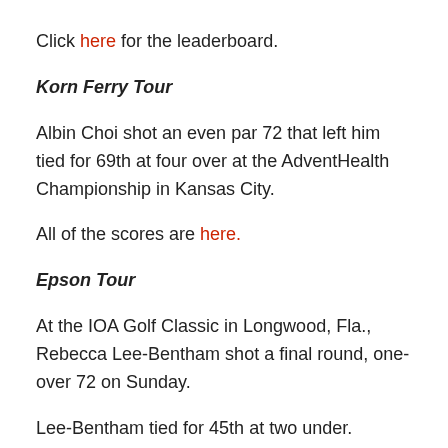Click here for the leaderboard.
Korn Ferry Tour
Albin Choi shot an even par 72 that left him tied for 69th at four over at the AdventHealth Championship in Kansas City.
All of the scores are here.
Epson Tour
At the IOA Golf Classic in Longwood, Fla., Rebecca Lee-Bentham shot a final round, one-over 72 on Sunday.
Lee-Bentham tied for 45th at two under.